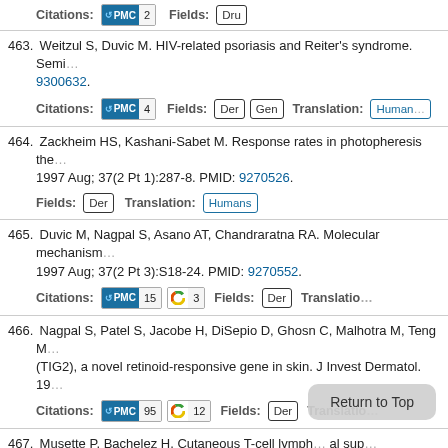Citations: PMC 2   Fields: Dru
463. Weitzul S, Duvic M. HIV-related psoriasis and Reiter's syndrome. Semi... 9300632.
Citations: PMC 4   Fields: Der Gen   Translation: Human...
464. Zackheim HS, Kashani-Sabet M. Response rates in photopheresis the... 1997 Aug; 37(2 Pt 1):287-8. PMID: 9270526.
Fields: Der   Translation: Humans
465. Duvic M, Nagpal S, Asano AT, Chandraratna RA. Molecular mechanism... 1997 Aug; 37(2 Pt 3):S18-24. PMID: 9270552.
Citations: PMC 15   Altmetric 3   Fields: Der   Translatio...
466. Nagpal S, Patel S, Jacobe H, DiSepio D, Ghosn C, Malhotra M, Teng M... (TIG2), a novel retinoid-responsive gene in skin. J Invest Dermatol. 19...
Citations: PMC 95   Altmetric 12   Fields: Der   Translatio...
467. Musette P, Bachelez H. Cutaneous T-cell lymph... al sup... 9207487.
Fields: Hem   Translation: Humans   Cells